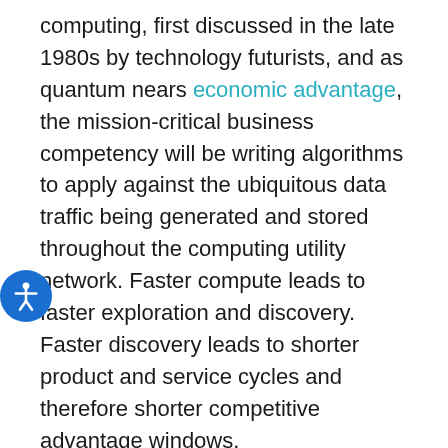computing, first discussed in the late 1980s by technology futurists, and as quantum nears economic advantage, the mission-critical business competency will be writing algorithms to apply against the ubiquitous data traffic being generated and stored throughout the computing utility network. Faster compute leads to faster exploration and discovery. Faster discovery leads to shorter product and service cycles and therefore shorter competitive advantage windows.
As such, algorithms that generate these new insights will increasingly become the way enterprises generate wealth, as well-skilled individuals push the limits of conventional wisdom and then deliver those new insights